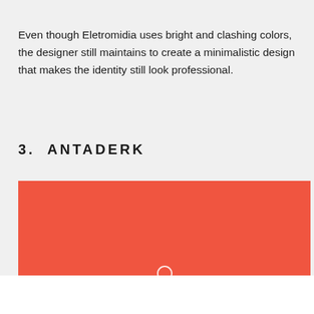Even though Eletromidia uses bright and clashing colors, the designer still maintains to create a minimalistic design that makes the identity still look professional.
3.  ANTADERK
[Figure (illustration): A large red-orange rectangular block with a small white circle partially visible at the bottom center, representing a branded identity/design example for Antaderk.]